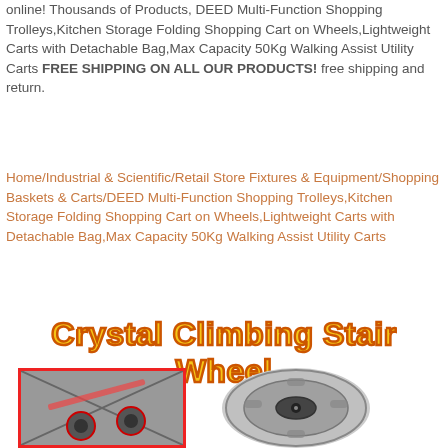online! Thousands of Products, DEED Multi-Function Shopping Trolleys,Kitchen Storage Folding Shopping Cart on Wheels,Lightweight Carts with Detachable Bag,Max Capacity 50Kg Walking Assist Utility Carts FREE SHIPPING ON ALL OUR PRODUCTS! free shipping and return.
Home/Industrial & Scientific/Retail Store Fixtures & Equipment/Shopping Baskets & Carts/DEED Multi-Function Shopping Trolleys,Kitchen Storage Folding Shopping Cart on Wheels,Lightweight Carts with Detachable Bag,Max Capacity 50Kg Walking Assist Utility Carts
Crystal Climbing Stair Wheel
[Figure (photo): Photo of shopping cart wheels on stairs with red border]
[Figure (photo): Photo of a crystal climbing stair wheel, circular gray wheel component]